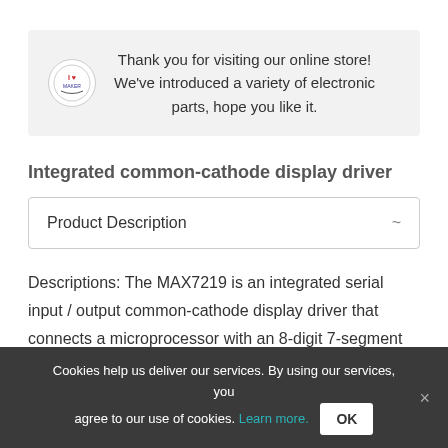[Figure (other): Store banner with logo icon and welcome message text]
Integrated common-cathode display driver
| Product Description | ~ |
| --- | --- |
Descriptions: The MAX7219 is an integrated serial input / output common-cathode display driver that connects a microprocessor with an 8-digit 7-segment digital LED display or a bar graph display or
Cookies help us deliver our services. By using our services, you agree to our use of cookies. Learn more.  OK  ×